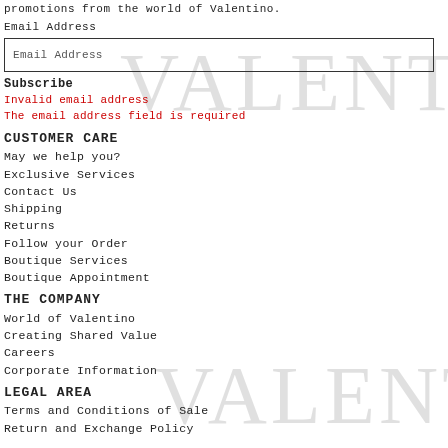promotions from the world of Valentino.
Email Address
[Figure (screenshot): Email address input field with Valentino watermark logo overlay]
Subscribe
Invalid email address
The email address field is required
CUSTOMER CARE
May we help you?
Exclusive Services
Contact Us
Shipping
Returns
Follow your Order
Boutique Services
Boutique Appointment
THE COMPANY
World of Valentino
Creating Shared Value
Careers
Corporate Information
LEGAL AREA
Terms and Conditions of Sale
Return and Exchange Policy